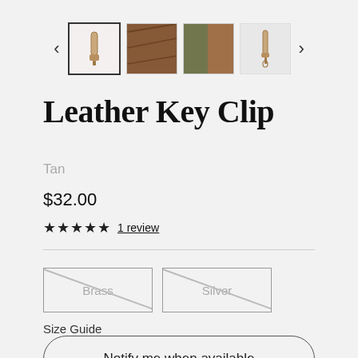[Figure (photo): Product thumbnail strip with navigation arrows and 4 thumbnail images of a leather key clip]
Leather Key Clip
Tan
$32.00
★★★★★ 1 review
Brass | Silver (both unavailable/crossed out)
Size Guide
Notify me when available